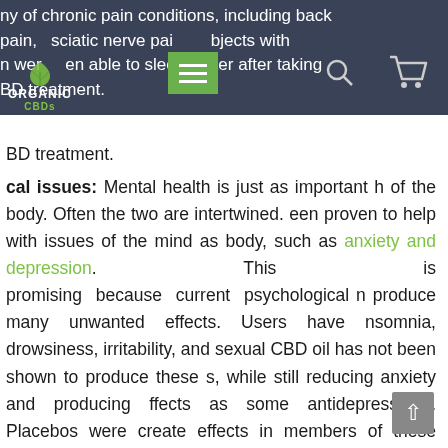ny of chronic pain conditions, including back pain, sciatic nerve pain, subjects with in were able to sleep better after taking BD treatment.
cal issues: Mental health is just as important h of the body. Often the two are intertwined. een proven to help with issues of the mind as body, such as anxiety and depression. This is promising because current psychological n produce many unwanted effects. Users have nsomnia, drowsiness, irritability, and sexual CBD oil has not been shown to produce these s, while still reducing anxiety and producing ffects as some antidepressants. Placebos were create effects in members of these studies, ects who were treated with CBD showed improvement.